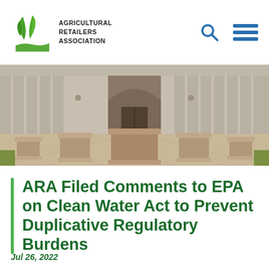Agricultural Retailers Association
[Figure (photo): Exterior of a government building with large stone pillars and concrete planters/bollards in the foreground, viewed from a straight-on perspective down a paved walkway.]
ARA Filed Comments to EPA on Clean Water Act to Prevent Duplicative Regulatory Burdens
Jul 26, 2022